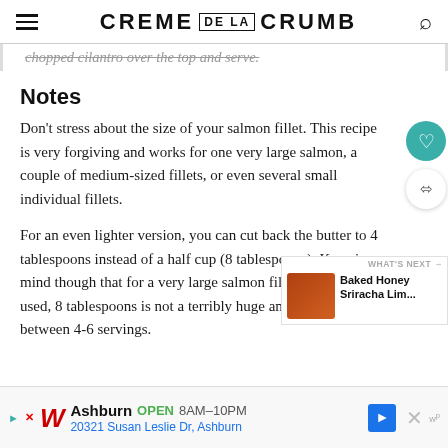CREME DE LA CRUMB
chopped cilantro over the top and serve.
Notes
Don’t stress about the size of your salmon fillet. This recipe is very forgiving and works for one very large salmon, a couple of medium-sized fillets, or even several small individual fillets.
For an even lighter version, you can cut back the butter to 4 tablespoons instead of a half cup (8 tablespoons). Keep in mind though that for a very large salmon fillet like the one I used, 8 tablespoons is not a terribly huge amount divided between 4-6 servings.
[Figure (other): Advertisement bar for Walgreens: Ashburn OPEN 8AM-10PM, 20321 Susan Leslie Dr, Ashburn]